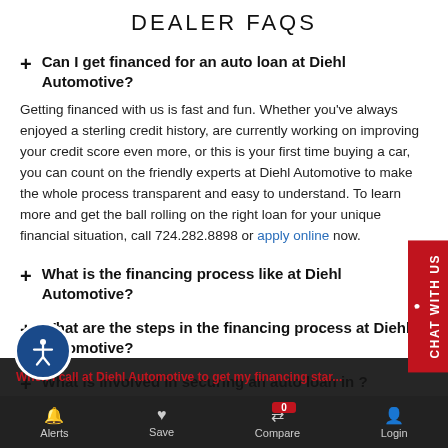DEALER FAQS
+ Can I get financed for an auto loan at Diehl Automotive?
Getting financed with us is fast and fun. Whether you've always enjoyed a sterling credit history, are currently working on improving your credit score even more, or this is your first time buying a car, you can count on the friendly experts at Diehl Automotive to make the whole process transparent and easy to understand. To learn more and get the ball rolling on the right loan for your unique financial situation, call 724.282.8898 or apply online now.
+ What is the financing process like at Diehl Automotive?
+ What are the steps in the financing process at Diehl Automotive?
+ What is involved in securing an auto loan in ?
Alerts   Save   Compare 0   Login